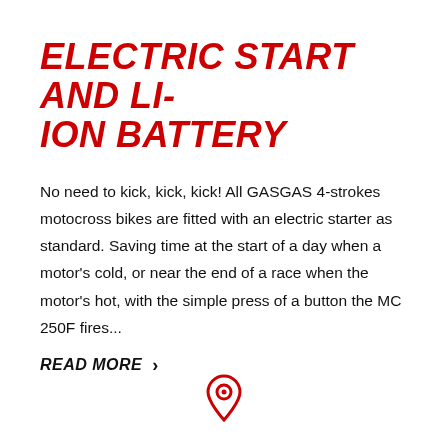ELECTRIC START AND LI-ION BATTERY
No need to kick, kick, kick! All GASGAS 4-strokes motocross bikes are fitted with an electric starter as standard. Saving time at the start of a day when a motor's cold, or near the end of a race when the motor's hot, with the simple press of a button the MC 250F fires...
READ MORE ›
[Figure (illustration): Red map/location pin icon]